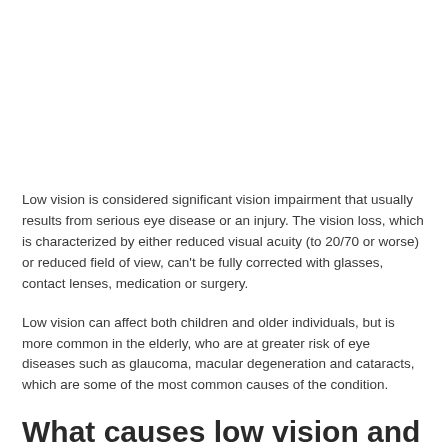Low vision is considered significant vision impairment that usually results from serious eye disease or an injury. The vision loss, which is characterized by either reduced visual acuity (to 20/70 or worse) or reduced field of view, can't be fully corrected with glasses, contact lenses, medication or surgery.
Low vision can affect both children and older individuals, but is more common in the elderly, who are at greater risk of eye diseases such as glaucoma, macular degeneration and cataracts, which are some of the most common causes of the condition.
What causes low vision and how